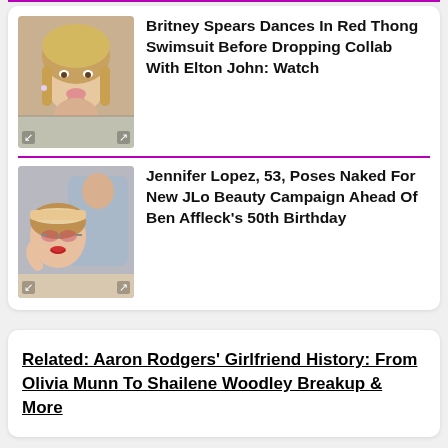Britney Spears Dances In Red Thong Swimsuit Before Dropping Collab With Elton John: Watch
Jennifer Lopez, 53, Poses Naked For New JLo Beauty Campaign Ahead Of Ben Affleck's 50th Birthday
Related: Aaron Rodgers' Girlfriend History: From Olivia Munn To Shailene Woodley Breakup & More